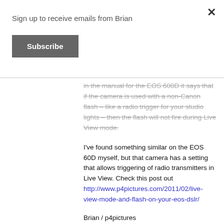Sign up to receive emails from Brian
Subscribe
in the manual for the EOS 600D it says that if the camera is used with a non-Canon flash – like a radio trigger for your studio lights – then the flash will not fire during Live View mode.
I've found something similar on the EOS 60D myself, but that camera has a setting that allows triggering of radio transmitters in Live View. Check this post out http://www.p4pictures.com/2011/02/live-view-mode-and-flash-on-your-eos-dslr/
Brian / p4pictures